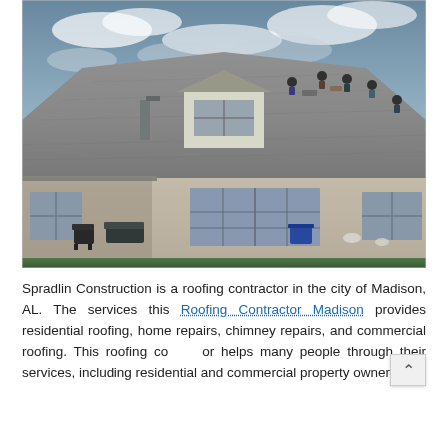[Figure (photo): Photograph of the rear exterior of a single-story brick house with a gray shingle roof. Workers are visible on the roof performing roofing work. The backyard has green grass, patio furniture, and landscaping. Cloudy sky overhead.]
Spradlin Construction is a roofing contractor in the city of Madison, AL. The services this Roofing Contractor Madison provides residential roofing, home repairs, chimney repairs, and commercial roofing. This roofing contractor helps many people through their services, including residential and commercial property owners.